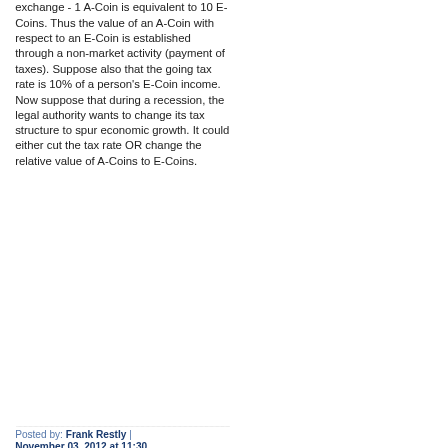exchange - 1 A-Coin is equivalent to 10 E-Coins. Thus the value of an A-Coin with respect to an E-Coin is established through a non-market activity (payment of taxes). Suppose also that the going tax rate is 10% of a person's E-Coin income. Now suppose that during a recession, the legal authority wants to change its tax structure to spur economic growth. It could either cut the tax rate OR change the relative value of A-Coins to E-Coins.
Posted by: Frank Restly | November 03, 2012 at 11:30